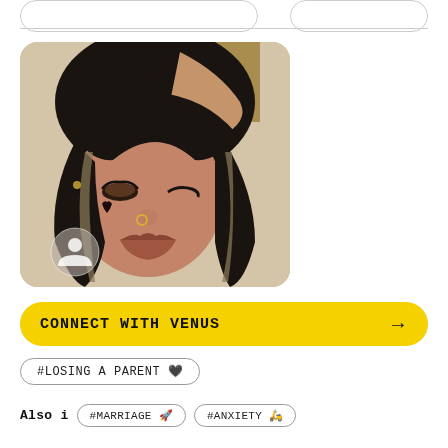[Figure (photo): Selfie photo of a young woman with dark hair with highlights, full bangs, heavy eye makeup with lashes, nose ring, and a heart-shaped beauty mark on her cheek, making a pouty face. A small circular profile icon overlay is visible in the lower left of the photo.]
CONNECT WITH VENUS →
#LOSING A PARENT 🖤
Also i  #MARRIAGE 🚀  #ANXIETY 🛵